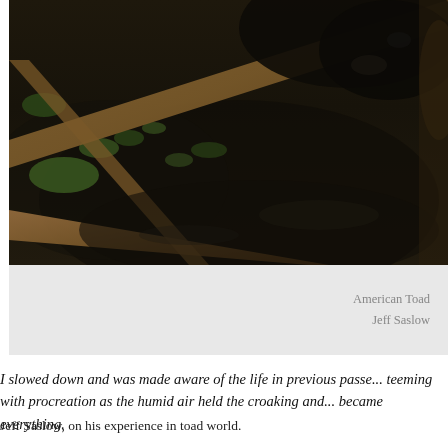[Figure (photo): Close-up photograph of an American Toad in a dark, wet natural environment with logs, sticks, mud, and green vegetation. The image is a shallow depth-of-field nature photograph showing the toad among woody debris.]
American Toad
Jeff Saslow
I slowed down and was made aware of the life in previous passe... teeming with procreation as the humid air held the croaking and... became everything.
Jeff Saslow, on his experience in toad world.